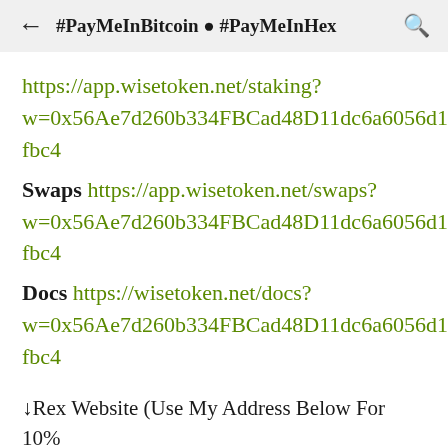#PayMeInBitcoin ● #PayMeInHex
https://app.wisetoken.net/staking?w=0x56Ae7d260b334FBCad48D11dc6a6056d1cD2fbc4
Swaps https://app.wisetoken.net/swaps?w=0x56Ae7d260b334FBCad48D11dc6a6056d1cD2fbc4
Docs https://wisetoken.net/docs?w=0x56Ae7d260b334FBCad48D11dc6a6056d1cD2fbc4
↓Rex Website (Use My Address Below For 10% Bonus!)↓